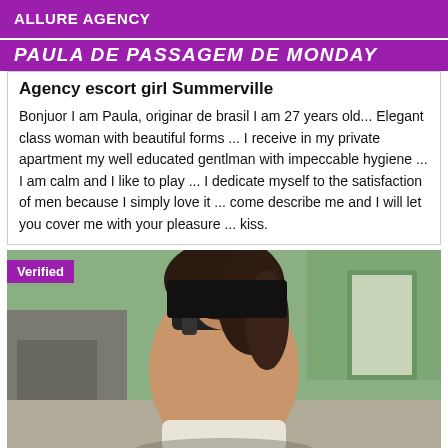ALLURE AGENCY
PAULA DE PASSAGEM DE MONDAY
Agency escort girl Summerville
Bonjuor I am Paula, originar de brasil I am 27 years old... Elegant class woman with beautiful forms ... I receive in my private apartment my well educated gentlman with impeccable hygiene ... I am calm and I like to play ... I dedicate myself to the satisfaction of men because I simply love it ... come describe me and I will let you cover me with your pleasure ... kiss.
[Figure (photo): Photo of a woman with dark hair, wearing a black bra and white underwear, facing away from the camera in a bathroom/room setting with green walls. A 'Verified' badge is overlaid in the top-left corner.]